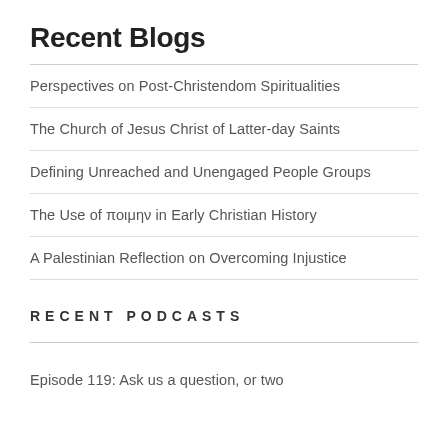Recent Blogs
Perspectives on Post-Christendom Spiritualities
The Church of Jesus Christ of Latter-day Saints
Defining Unreached and Unengaged People Groups
The Use of ποιμην in Early Christian History
A Palestinian Reflection on Overcoming Injustice
RECENT PODCASTS
Episode 119: Ask us a question, or two